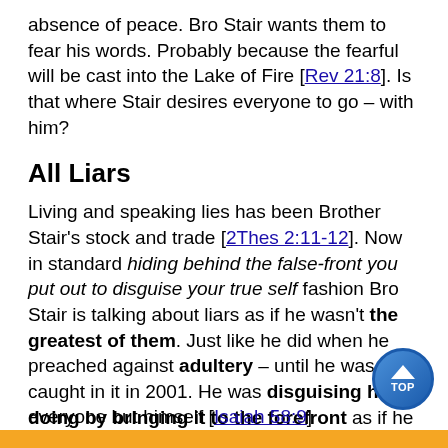absence of peace.  Bro Stair wants them to fear his words.  Probably because the fearful will be cast into the Lake of Fire [Rev 21:8].  Is that where Stair desires everyone to go – with him?
All Liars
Living and speaking lies has been Brother Stair's stock and trade [2Thes 2:11-12].  Now in standard hiding behind the false-front you put out to disguise your true self fashion Bro Stair is talking about liars as if he wasn't the greatest of them.  Just like he did when he preached against adultery – until he was caught in it in 2001.  He was disguising his doing by bringing it to the forefront as if he was far removed from it.  Just like you can be sure he does in everything he talks about, point the finger at everyone but himself [Isaiah 58:9]